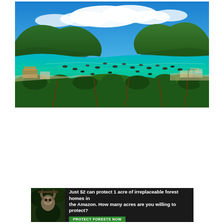[Figure (photo): Aerial panoramic view of a tropical bay with turquoise water filled with fishing boats, surrounded by green forested hills and palm trees in the foreground, under a bright blue sky with white clouds.]
[Figure (infographic): Advertisement banner with dark background. Left side shows a photo of a sloth in forest. Text reads: 'Just $2 can protect 1 acre of irreplaceable forest homes in the Amazon. How many acres are you willing to protect?' with a green 'PROTECT FORESTS NOW' button.]